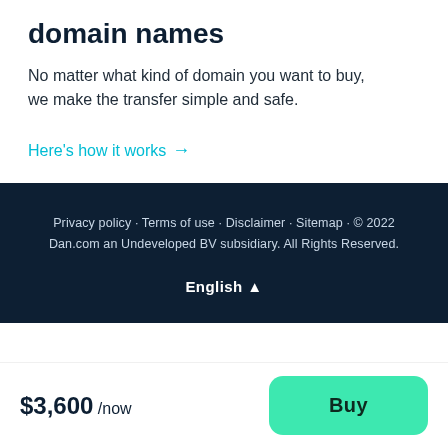domain names
No matter what kind of domain you want to buy, we make the transfer simple and safe.
Here's how it works →
Privacy policy · Terms of use · Disclaimer · Sitemap · © 2022 Dan.com an Undeveloped BV subsidiary. All Rights Reserved.
English ▲
$3,600 /now
Buy